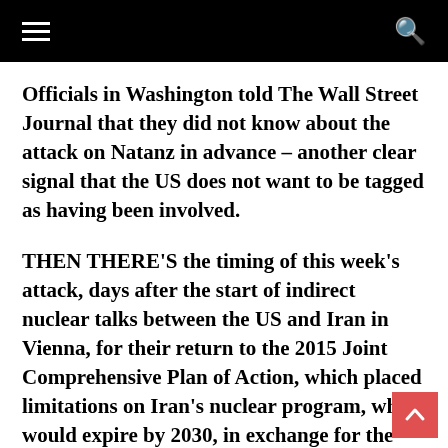Officials in Washington told The Wall Street Journal that they did not know about the attack on Natanz in advance – another clear signal that the US does not want to be tagged as having been involved.
THEN THERE'S the timing of this week's attack, days after the start of indirect nuclear talks between the US and Iran in Vienna, for their return to the 2015 Joint Comprehensive Plan of Action, which placed limitations on Iran's nuclear program, which would expire by 2030, in exchange for the gradual lifting of sanctions.
It also took place just as US Secretary of